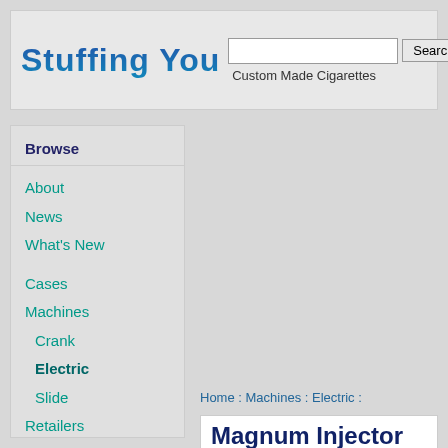Stuffing You Custom Made Cigarettes Search
Browse
About
News
What's New
Cases
Machines
Crank
Electric
Slide
Retailers
Tobacco
Tubes
Forum
Home : Machines : Electric :
Magnum Injector